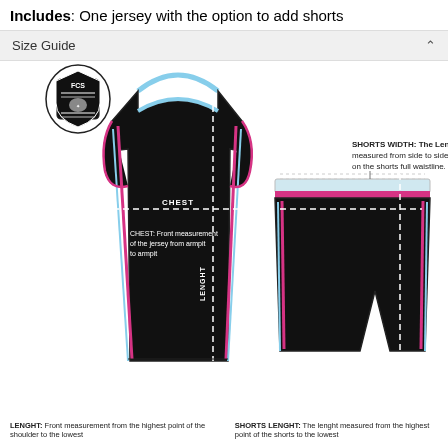Includes: One jersey with the option to add shorts
Size Guide
[Figure (illustration): Diagram of a black basketball jersey with dashed measurement lines indicating CHEST (horizontal) and LENGHT (vertical), with labels. FCS logo in top left. Also shows black basketball shorts with dashed measurement lines.]
LENGHT: Front measurement from the highest point of the shoulder to the lowest
SHORTS LENGHT: The lenght measured from the highest point of the shorts to the lowest